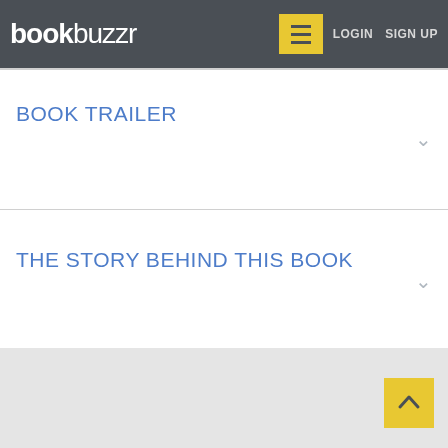bookbuzzr LOGIN SIGN UP
BOOK TRAILER
THE STORY BEHIND THIS BOOK
PRAISE AND REVIEWS